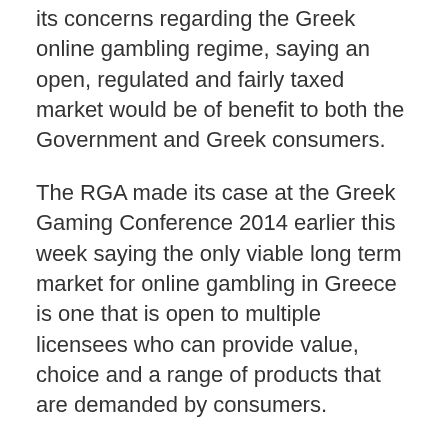its concerns regarding the Greek online gambling regime, saying an open, regulated and fairly taxed market would be of benefit to both the Government and Greek consumers.
The RGA made its case at the Greek Gaming Conference 2014 earlier this week saying the only viable long term market for online gambling in Greece is one that is open to multiple licensees who can provide value, choice and a range of products that are demanded by consumers.
Highlighting the customer protection argument, the RGA said in a statement: "The Commission must at least have suspicions that the motivation for not offering licences for online gambling in the past two years had nothing to do with consumer protection but was designed to sell the Government's shares in OPAP at the highest possible price."